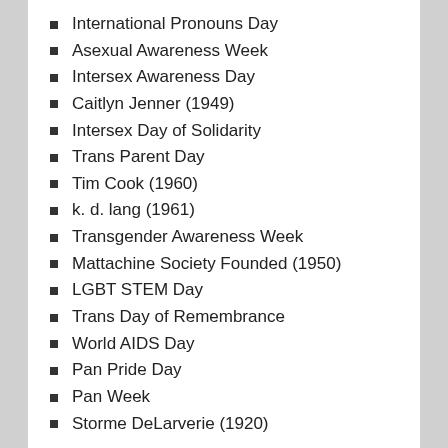International Pronouns Day
Asexual Awareness Week
Intersex Awareness Day
Caitlyn Jenner (1949)
Intersex Day of Solidarity
Trans Parent Day
Tim Cook (1960)
k. d. lang (1961)
Transgender Awareness Week
Mattachine Society Founded (1950)
LGBT STEM Day
Trans Day of Remembrance
World AIDS Day
Pan Pride Day
Pan Week
Storme DeLarverie (1920)
I have made a best effort to provide accurate dates for these events, but sometimes the information is unclear or not well defined. Also, some events may move. If you notice any dates that are wrong, please let me know.